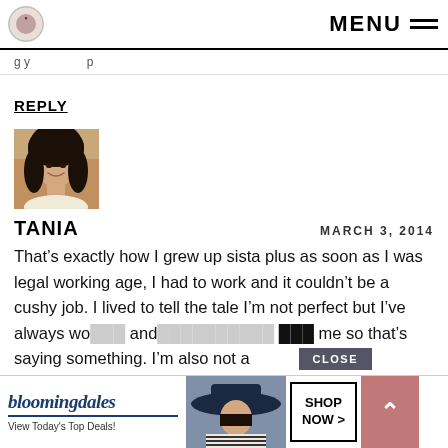MENU
g y  p
REPLY
[Figure (photo): Profile photo of a young woman with dark hair, smiling, wearing a light-colored top, warm background]
TANIA    MARCH 3, 2014
That’s exactly how I grew up sista plus as soon as I was legal working age, I had to work and it couldn’t be a cushy job. I lived to tell the tale, I’m not perfect but I’ve always wo... and ... me so that’s saying something. I’m also not a
[Figure (screenshot): Bloomingdale's advertisement banner with 'CLOSE' button, showing a woman in hat, with 'SHOP NOW >' button]